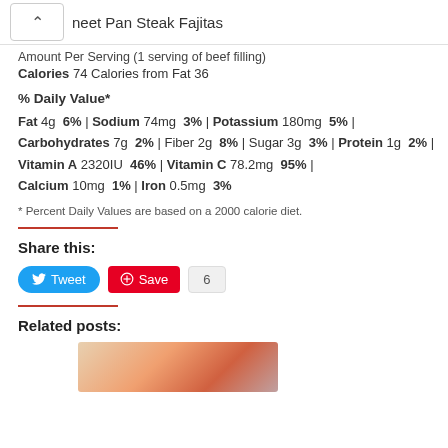neet Pan Steak Fajitas
Amount Per Serving (1 serving of beef filling)
Calories 74 Calories from Fat 36
% Daily Value*
Fat 4g 6% | Sodium 74mg 3% | Potassium 180mg 5% | Carbohydrates 7g 2% | Fiber 2g 8% | Sugar 3g 3% | Protein 1g 2% | Vitamin A 2320IU 46% | Vitamin C 78.2mg 95% | Calcium 10mg 1% | Iron 0.5mg 3%
* Percent Daily Values are based on a 2000 calorie diet.
Share this:
Tweet | Save | 6
Related posts:
[Figure (photo): Food photo for related post]